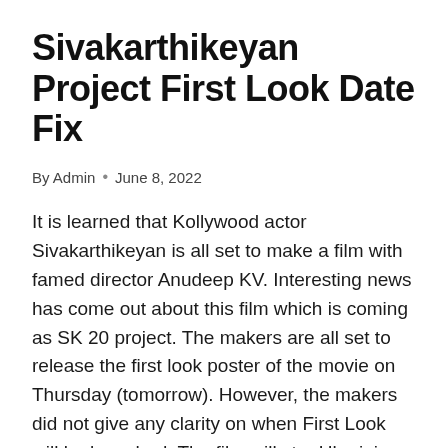Sivakarthikeyan Project First Look Date Fix
By Admin • June 8, 2022
It is learned that Kollywood actor Sivakarthikeyan is all set to make a film with famed director Anudeep KV. Interesting news has come out about this film which is coming as SK 20 project. The makers are all set to release the first look poster of the movie on Thursday (tomorrow). However, the makers did not give any clarity on when First Look will be launched. The film will star Ukrainian sister-in-law Marina Ryaboshapka on a female lead.